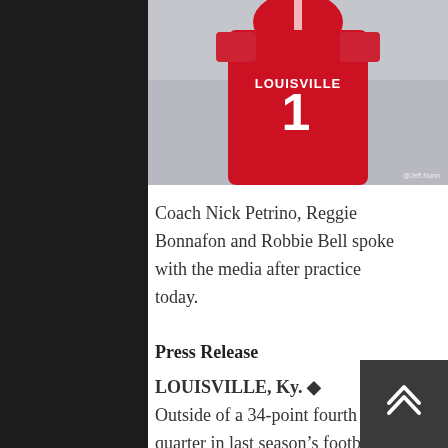[Figure (photo): A Louisville Cardinals football player wearing a red #1 jersey with adidas branding, photographed from the chest up. The player is wearing shoulder pads. Photo credit visible in lower right corner.]
Coach Nick Petrino, Reggie Bonnafon and Robbie Bell spoke with the media after practice today.
Press Release
LOUISVILLE, Ky. ◆ Outside of a 34-point fourth quarter in last season’s football matchup, Louisville and Wake Forest have played a couple of games down to the wire.